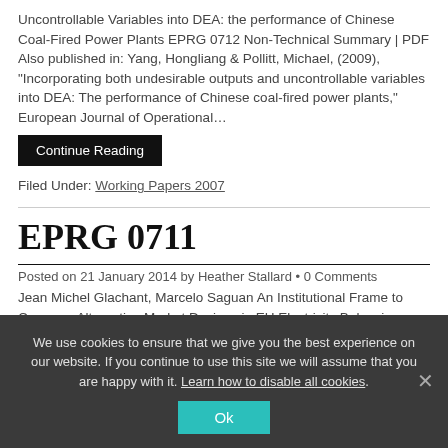Uncontrollable Variables into DEA: the performance of Chinese Coal-Fired Power Plants EPRG 0712 Non-Technical Summary | PDF Also published in: Yang, Hongliang & Pollitt, Michael, (2009), "Incorporating both undesirable outputs and uncontrollable variables into DEA: The performance of Chinese coal-fired power plants," European Journal of Operational…
Continue Reading
Filed Under: Working Papers 2007
EPRG 0711
Posted on 21 January 2014 by Heather Stallard • 0 Comments
Jean Michel Glachant, Marcelo Saguan An Institutional Frame to Compare Alternative Market Designs in EU Electricity Balancing EPRG 0711 Non-Technical Summary | PDF Abstract: The so-called "electricity wholesale
We use cookies to ensure that we give you the best experience on our website. If you continue to use this site we will assume that you are happy with it. Learn how to disable all cookies.
Ok